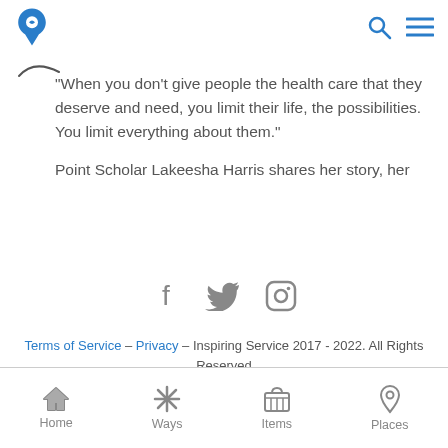Navigation header with logo, search and menu icons
[Figure (illustration): Decorative swish/wave line in dark color]
“When you don’t give people the health care that they deserve and need, you limit their life, the possibilities. You limit everything about them.”
Point Scholar Lakeesha Harris shares her story, her
[Figure (illustration): Social media icons: Facebook, Twitter, Instagram in gray]
Terms of Service – Privacy – Inspiring Service 2017 - 2022. All Rights Reserved
Bottom navigation bar with Home, Ways, Items, Places